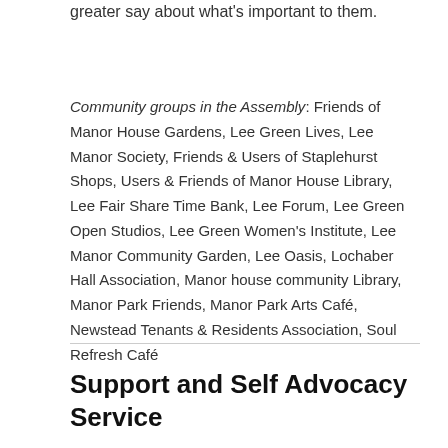greater say about what's important to them.
Community groups in the Assembly: Friends of Manor House Gardens, Lee Green Lives, Lee Manor Society, Friends & Users of Staplehurst Shops, Users & Friends of Manor House Library, Lee Fair Share Time Bank, Lee Forum, Lee Green Open Studios, Lee Green Women's Institute, Lee Manor Community Garden, Lee Oasis, Lochaber Hall Association, Manor house community Library, Manor Park Friends, Manor Park Arts Café, Newstead Tenants & Residents Association, Soul Refresh Café
Support and Self Advocacy Service